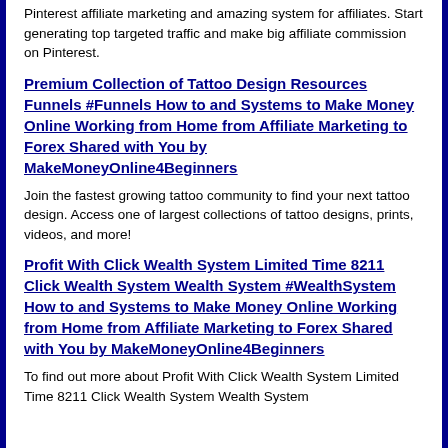Pinterest affiliate marketing and amazing system for affiliates. Start generating top targeted traffic and make big affiliate commission on Pinterest.
Premium Collection of Tattoo Design Resources Funnels #Funnels How to and Systems to Make Money Online Working from Home from Affiliate Marketing to Forex Shared with You by MakeMoneyOnline4Beginners
Join the fastest growing tattoo community to find your next tattoo design. Access one of largest collections of tattoo designs, prints, videos, and more!
Profit With Click Wealth System Limited Time 8211 Click Wealth System Wealth System #WealthSystem How to and Systems to Make Money Online Working from Home from Affiliate Marketing to Forex Shared with You by MakeMoneyOnline4Beginners
To find out more about Profit With Click Wealth System Limited Time 8211 Click Wealth System Wealth System